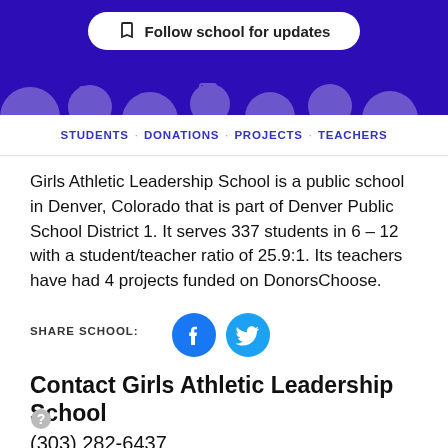Follow school for updates
STUDENTS · DONATIONS · PROJECTS · TEACHERS
Girls Athletic Leadership School is a public school in Denver, Colorado that is part of Denver Public School District 1. It serves 337 students in 6 – 12 with a student/teacher ratio of 25.9:1. Its teachers have had 4 projects funded on DonorsChoose.
SHARE SCHOOL:
[Figure (logo): Facebook and Twitter social media share icons]
Contact Girls Athletic Leadership School
[Figure (other): Question mark help icon]
(303) 282-6437